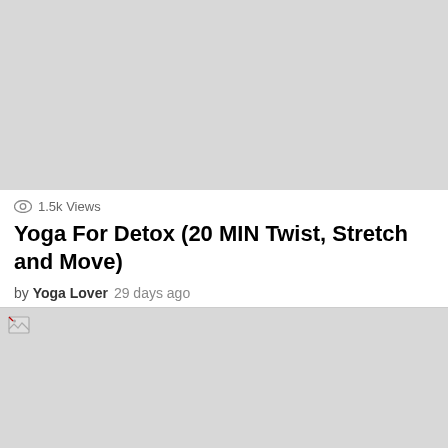[Figure (other): Gray video thumbnail placeholder at top of page]
1.5k Views
Yoga For Detox (20 MIN Twist, Stretch and Move)
by Yoga Lover  29 days ago
[Figure (other): Gray image placeholder with broken image icon at bottom]
close